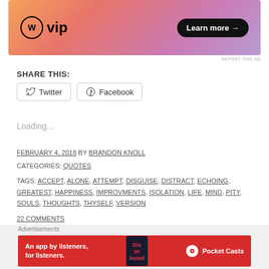[Figure (illustration): WordPress VIP advertisement banner with orange-pink-purple gradient background. Left side shows WordPress circle logo with 'vip' text. Right side has a dark pill-shaped 'Learn more →' button.]
REPORT THIS AD
SHARE THIS:
Twitter   Facebook
Loading...
FEBRUARY 4, 2018 BY BRANDON KNOLL
CATEGORIES: QUOTES
TAGS: ACCEPT, ALONE, ATTEMPT, DISGUISE, DISTRACT, ECHOING, GREATEST, HAPPINESS, IMPROVMENTS, ISOLATION, LIFE, MIND, PITY, SOULS, THOUGHTS, THYSELF, VERSION
22 COMMENTS
Advertisements
[Figure (illustration): Pocket Casts advertisement banner with red background. Left side reads 'An app by listeners, for listeners.' Center shows a phone with 'Distributed' book/app. Right side shows Pocket Casts logo and name.]